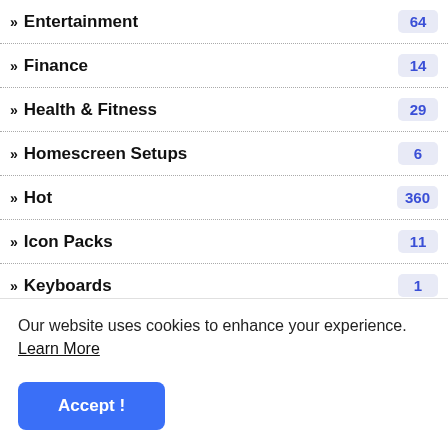Entertainment 64
Finance 14
Health & Fitness 29
Homescreen Setups 6
Hot 360
Icon Packs 11
Keyboards 1
Lifestyle 6
Maps & Navigation 2
Medical 1
Our website uses cookies to enhance your experience. Learn More
Accept !